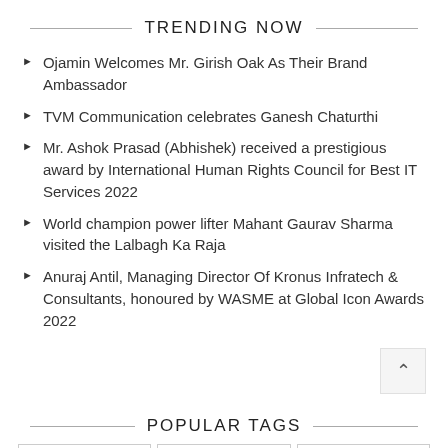TRENDING NOW
Ojamin Welcomes Mr. Girish Oak As Their Brand Ambassador
TVM Communication celebrates Ganesh Chaturthi
Mr. Ashok Prasad (Abhishek) received a prestigious award by International Human Rights Council for Best IT Services 2022
World champion power lifter Mahant Gaurav Sharma visited the Lalbagh Ka Raja
Anuraj Antil, Managing Director Of Kronus Infratech & Consultants, honoured by WASME at Global Icon Awards 2022
POPULAR TAGS